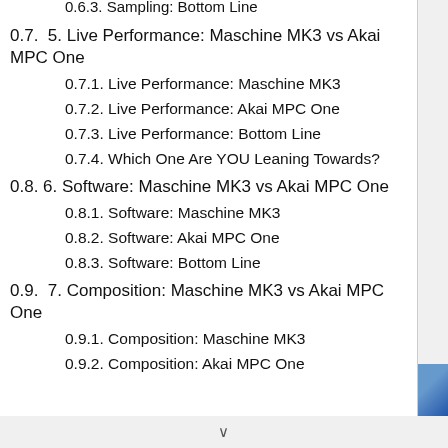0.6.3. Sampling: Bottom Line
0.7.  5. Live Performance: Maschine MK3 vs Akai MPC One
0.7.1. Live Performance: Maschine MK3
0.7.2. Live Performance: Akai MPC One
0.7.3. Live Performance: Bottom Line
0.7.4. Which One Are YOU Leaning Towards?
0.8. 6. Software: Maschine MK3 vs Akai MPC One
0.8.1. Software: Maschine MK3
0.8.2. Software: Akai MPC One
0.8.3. Software: Bottom Line
0.9.  7. Composition: Maschine MK3 vs Akai MPC One
0.9.1. Composition: Maschine MK3
0.9.2. Composition: Akai MPC One